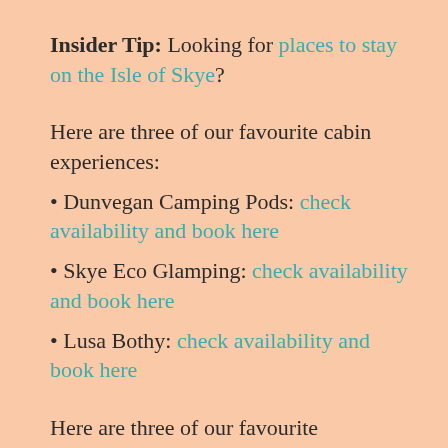Insider Tip: Looking for places to stay on the Isle of Skye?
Here are three of our favourite cabin experiences:
Dunvegan Camping Pods: check availability and book here
Skye Eco Glamping: check availability and book here
Lusa Bothy: check availability and book here
Here are three of our favourite affordable hostels:
Portree Independent Hostel: check